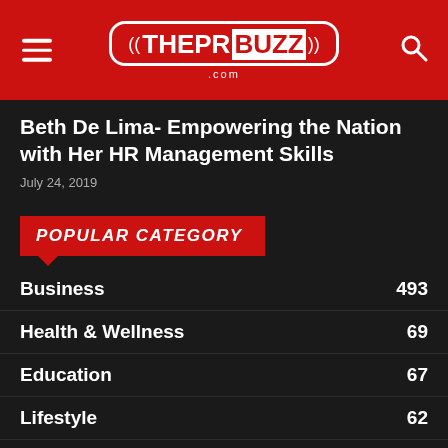THEPRBUZZ.com
Beth De Lima- Empowering the Nation with Her HR Management Skills
July 24, 2019
POPULAR CATEGORY
Business 493
Health & Wellness 69
Education 67
Lifestyle 62
Tech 57
Marketing 49
Finance 45
Industry 36